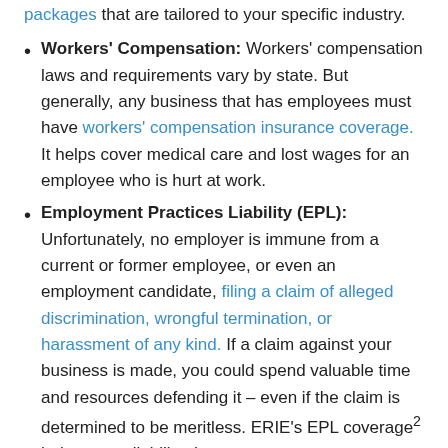packages that are tailored to your specific industry.
Workers' Compensation: Workers' compensation laws and requirements vary by state. But generally, any business that has employees must have workers' compensation insurance coverage. It helps cover medical care and lost wages for an employee who is hurt at work.
Employment Practices Liability (EPL): Unfortunately, no employer is immune from a current or former employee, or even an employment candidate, filing a claim of alleged discrimination, wrongful termination, or harassment of any kind. If a claim against your business is made, you could spend valuable time and resources defending it – even if the claim is determined to be meritless. ERIE's EPL coverage² helps cover liability damages